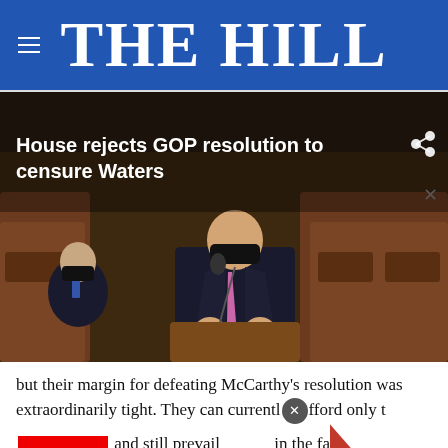THE HILL
[Figure (photo): Screenshot of The Hill news website showing a video thumbnail of a man in a dark suit and pink tie speaking at a podium in the House chamber, wearing a black mask, with text overlay 'House rejects GOP resolution to censure Waters']
but their margin for defeating McCarthy's resolution was extraordinarily tight. They can currently afford only t... defections and still prevail ... in the fa...